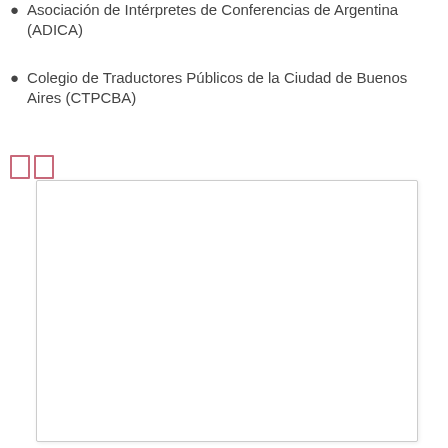Asociación de Intérpretes de Conferencias de Argentina (ADICA)
Colegio de Traductores Públicos de la Ciudad de Buenos Aires (CTPCBA)
[Figure (other): Two small colored icon boxes (decorative UI icons) in pink/red outline style]
[Figure (other): A large empty white rectangle with a light border, likely a placeholder for an image or embedded content]